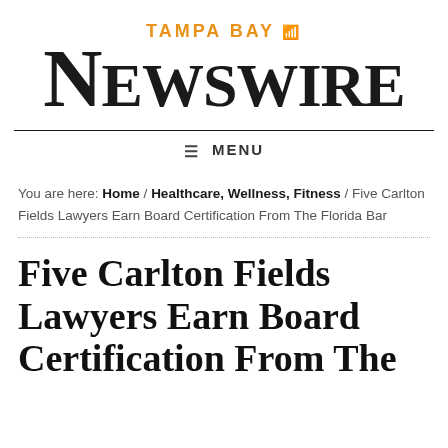[Figure (logo): Tampa Bay Newswire logo with orange 'TAMPA BAY' text and wifi icon above large black 'NEWSWIRE' serif text]
≡ MENU
You are here: Home / Healthcare, Wellness, Fitness / Five Carlton Fields Lawyers Earn Board Certification From The Florida Bar
Five Carlton Fields Lawyers Earn Board Certification From The